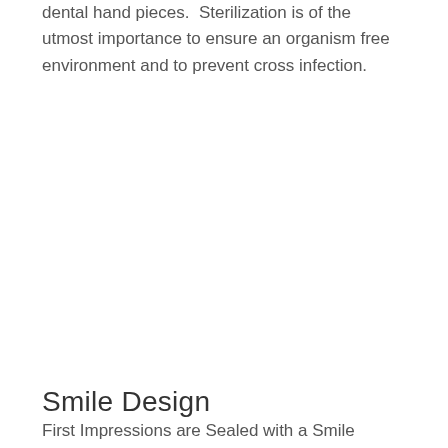dental hand pieces.  Sterilization is of the utmost importance to ensure an organism free environment and to prevent cross infection.
Smile Design
First Impressions are Sealed with a Smile